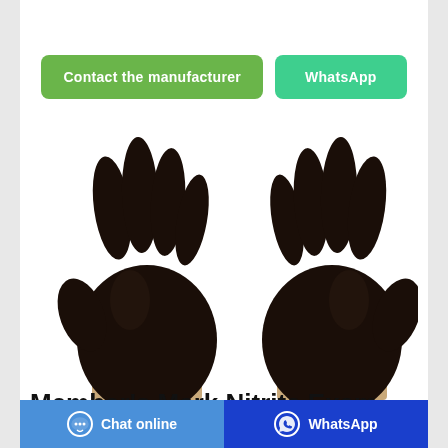[Figure (other): Two black nitrile exam gloves displayed side by side on a white background]
Member's Mark Nitrite Exam Gloves, Medium, 200 ct
Chat online | WhatsApp